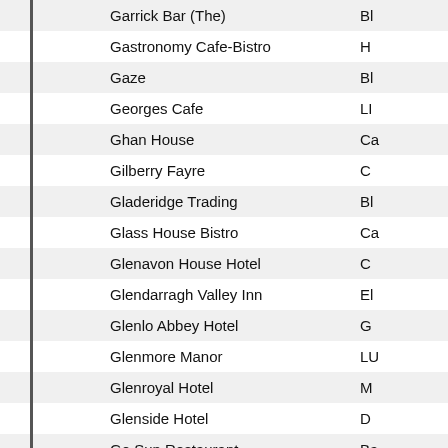| Name | Location |
| --- | --- |
| Garrick Bar (The) | Bl |
| Gastronomy Cafe-Bistro | H |
| Gaze | Bl |
| Georges Cafe | LI |
| Ghan House | Ca |
| Gilberry Fayre | C |
| Gladeridge Trading | Bl |
| Glass House Bistro | Ca |
| Glenavon House Hotel | C |
| Glendarragh Valley Inn | El |
| Glenlo Abbey Hotel | G |
| Glenmore Manor | LU |
| Glenroyal Hotel | M |
| Glenside Hotel | D |
| Go Sun Restaurant | Ba |
| Go Visit Inishowen | Bl |
| Go Visit Letterkenny | LE |
| Golden Elephant | Bl |